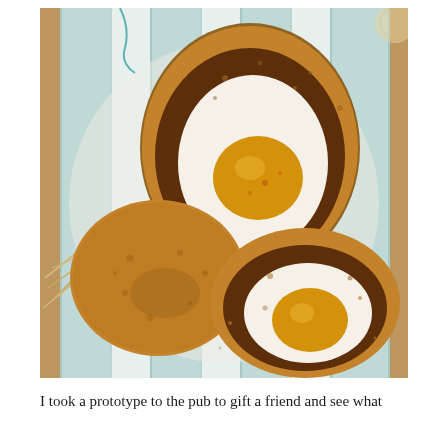[Figure (photo): Three Scotch eggs on a striped blue and white cloth/napkin. Two are cut in half showing a soft-boiled egg (white and golden yolk) surrounded by a dark meat layer coated in golden breadcrumbs. The third is whole, showing only the golden breadcrumb exterior. The background includes straw and what appears to be a wooden surface.]
I took a prototype to the pub to gift a friend and see what